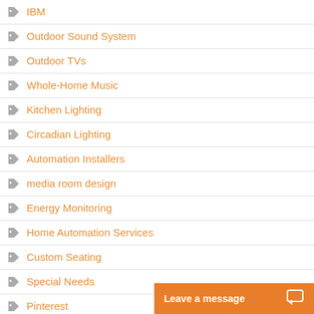IBM
Outdoor Sound System
Outdoor TVs
Whole-Home Music
Kitchen Lighting
Circadian Lighting
Automation Installers
media room design
Energy Monitoring
Home Automation Services
Custom Seating
Special Needs
Pinterest
Stewart Filmscreen
Surround Sound
Leave a message